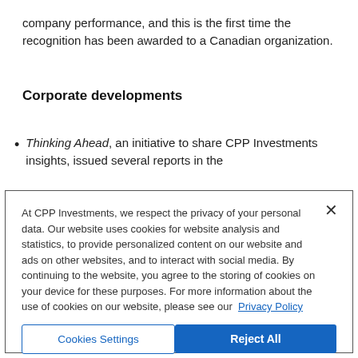company performance, and this is the first time the recognition has been awarded to a Canadian organization.
Corporate developments
Thinking Ahead, an initiative to share CPP Investments insights, issued several reports in the
At CPP Investments, we respect the privacy of your personal data. Our website uses cookies for website analysis and statistics, to provide personalized content on our website and ads on other websites, and to interact with social media. By continuing to the website, you agree to the storing of cookies on your device for these purposes. For more information about the use of cookies on our website, please see our Privacy Policy
Cookies Settings
Reject All